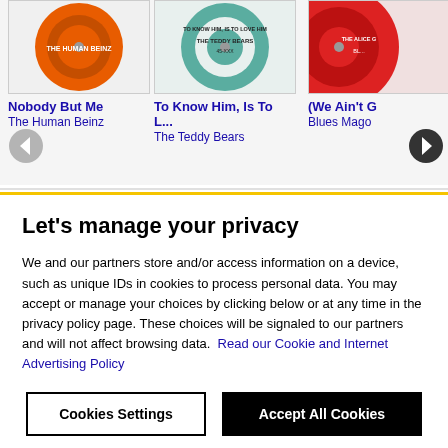[Figure (screenshot): Record album cover for 'Nobody But Me' by The Human Beinz - orange vinyl record]
Nobody But Me
The Human Beinz
[Figure (screenshot): Record album cover for 'To Know Him, Is To Love Him' by The Teddy Bears - teal/green vinyl record]
To Know Him, Is To L...
The Teddy Bears
[Figure (screenshot): Partial record album cover for '(We Ain't G...' by Blues Mago... - red vinyl record, cropped]
(We Ain't G
Blues Mago
Let's manage your privacy
We and our partners store and/or access information on a device, such as unique IDs in cookies to process personal data. You may accept or manage your choices by clicking below or at any time in the privacy policy page. These choices will be signaled to our partners and will not affect browsing data. Read our Cookie and Internet Advertising Policy
Cookies Settings
Accept All Cookies